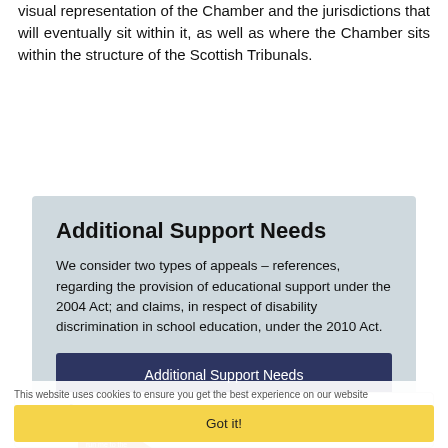visual representation of the Chamber and the jurisdictions that will eventually sit within it, as well as where the Chamber sits within the structure of the Scottish Tribunals.
Additional Support Needs
We consider two types of appeals – references, regarding the provision of educational support under the 2004 Act; and claims, in respect of disability discrimination in school education, under the 2010 Act.
Additional Support Needs
Needs to Learn
This website uses cookies to ensure you get the best experience on our website
Got it!